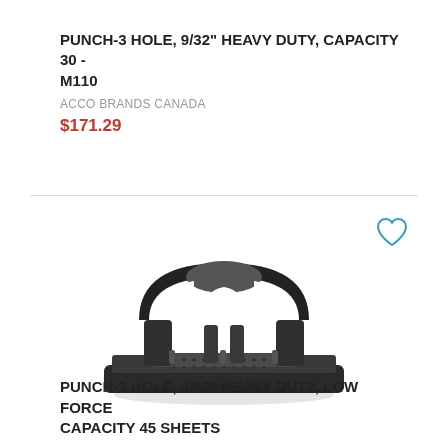PUNCH-3 HOLE, 9/32" HEAVY DUTY, CAPACITY 30 - M110
ACCO BRANDS CANADA
$171.29
[Figure (photo): Black 3-hole heavy duty punch with handle and base, viewed from a slight angle above]
PUNCH-3 HOLE, 9/32" HEAVY DUTY, LOW FORCE CAPACITY 45 SHEETS